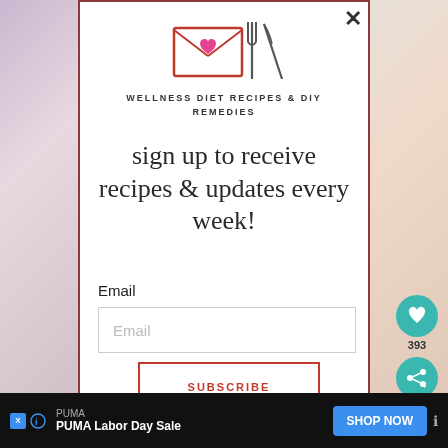[Figure (illustration): Envelope icon with fork and knife crossed, in coral/red outline style]
WELLNESS DIET RECIPES & DIY REMEDIES
sign up to receive recipes & updates every week!
Email
Email
SUBSCRIBE
You can easily unsubscribe from our mailing list at any time by clicking...
[Figure (infographic): PUMA Labor Day Sale advertisement bar with SHOP NOW button]